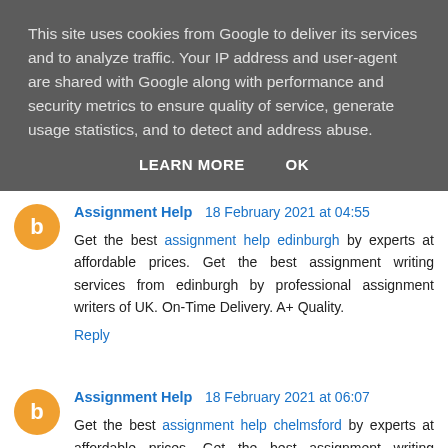This site uses cookies from Google to deliver its services and to analyze traffic. Your IP address and user-agent are shared with Google along with performance and security metrics to ensure quality of service, generate usage statistics, and to detect and address abuse.
LEARN MORE    OK
Assignment Help  18 February 2021 at 04:55
Get the best assignment help edinburgh by experts at affordable prices. Get the best assignment writing services from edinburgh by professional assignment writers of UK. On-Time Delivery. A+ Quality.
Reply
Assignment Help  18 February 2021 at 06:07
Get the best assignment help chelmsford by experts at affordable prices. Get the best assignment writing services from edinburgh by professional assignment writers of UK. On-Time Delivery. A+ Quality.